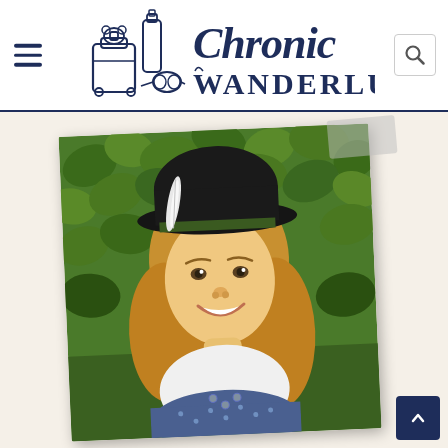Chronic Wanderlust — navigation header with logo
[Figure (photo): A smiling blonde woman wearing a black fedora hat with a feather and a dark band, dressed in a white top and blue floral dirndl, photographed in front of green ivy leaves. The photo is slightly rotated and has a tape effect in the upper right corner.]
[Figure (logo): Chronic Wanderlust logo featuring illustrated luggage and travel items alongside the text 'Chronic Wanderlust' in navy blue handwritten style font.]